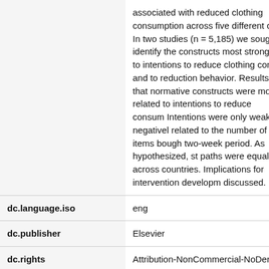| Field | Value |
| --- | --- |
| (abstract continued) | associated with reduced clothing consumption across five different cou In two studies (n = 5,185) we sought identify the constructs most strongly r to intentions to reduce clothing consu and to reduction behavior. Results sh that normative constructs were most : related to intentions to reduce consum Intentions were only weakly negativel related to the number of items bough two-week period. As hypothesized, st paths were equal across countries. Implications for intervention developm discussed. |
| dc.language.iso | eng |
| dc.publisher | Elsevier |
| dc.rights | Attribution-NonCommercial-NoDerива Internasjonal |
| dc.rights.uri | http://creativecommons.org/licenses/b |